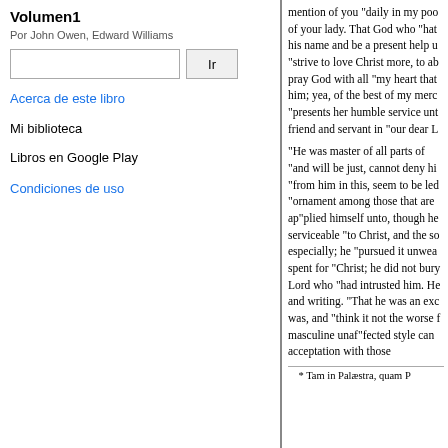Volumen1
Por John Owen, Edward Williams
Acerca de este libro
Mi biblioteca
Libros en Google Play
Condiciones de uso
mention of you "daily in my poo of your lady. That God who "hat his name and be a present help u "strive to love Christ more, to ab pray God with all "my heart that him; yea, of the best of my merc "presents her humble service unt friend and servant in "our dear L
"He was master of all parts of "and will be just, cannot deny hi "from him in this, seem to be led "ornament among those that are ap"plied himself unto, though he serviceable "to Christ, and the so especially; he "pursued it unwea spent for "Christ; he did not bury Lord who "had intrusted him. He and writing. "That he was an exc was, and "think it not the worse f masculine unaf"fected style can acceptation with those
* Tam in Palæstra, quam P